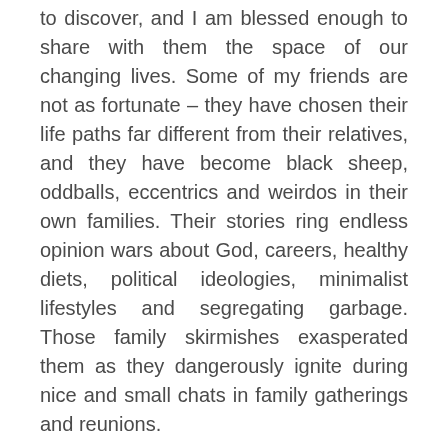to discover, and I am blessed enough to share with them the space of our changing lives. Some of my friends are not as fortunate – they have chosen their life paths far different from their relatives, and they have become black sheep, oddballs, eccentrics and weirdos in their own families. Their stories ring endless opinion wars about God, careers, healthy diets, political ideologies, minimalist lifestyles and segregating garbage. Those family skirmishes exasperated them as they dangerously ignite during nice and small chats in family gatherings and reunions.
My friends have fantastic, life-changing discoveries they want to share with their loved ones, yet they are left disappointed. The ones they love and expected to heed them are not as eager to learn